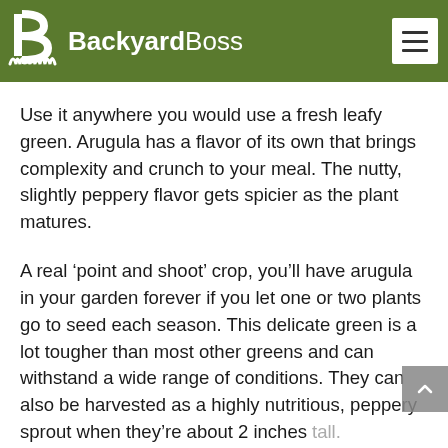BackyardBoss
Use it anywhere you would use a fresh leafy green. Arugula has a flavor of its own that brings complexity and crunch to your meal. The nutty, slightly peppery flavor gets spicier as the plant matures.
A real ‘point and shoot’ crop, you’ll have arugula in your garden forever if you let one or two plants go to seed each season. This delicate green is a lot tougher than most other greens and can withstand a wide range of conditions. They can also be harvested as a highly nutritious, peppery sprout when they’re about 2 inches tall.